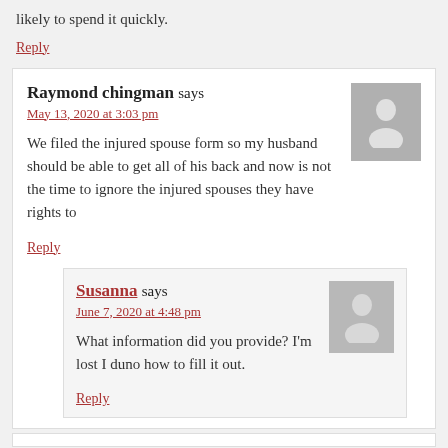likely to spend it quickly.
Reply
Raymond chingman says
May 13, 2020 at 3:03 pm
We filed the injured spouse form so my husband should be able to get all of his back and now is not the time to ignore the injured spouses they have rights to
Reply
Susanna says
June 7, 2020 at 4:48 pm
What information did you provide? I'm lost I duno how to fill it out.
Reply